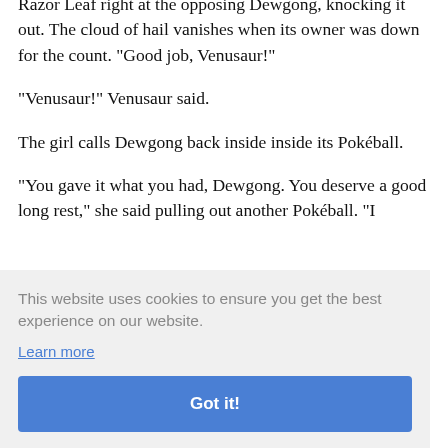Razor Leaf right at the opposing Dewgong, knocking it out. The cloud of hail vanishes when its owner was down for the count. "Good job, Venusaur!"
"Venusaur!" Venusaur said.
The girl calls Dewgong back inside inside its Pokéball.
"You gave it what you had, Dewgong. You deserve a good long rest," she said pulling out another Pokéball. "I
ur
n it.
enters
st!"
[Figure (other): Cookie consent banner overlay with text: 'This website uses cookies to ensure you get the best experience on our website.' with a 'Learn more' link and a 'Got it!' button]
"Tentacruel! Shake it off and use Scald!" The girl ordered